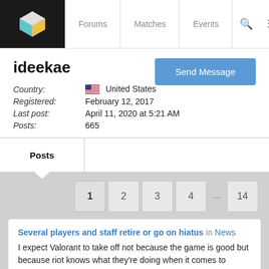Forums | Matches | Events
ideekae
| Country: | United States |
| Registered: | February 12, 2017 |
| Last post: | April 11, 2020 at 5:21 AM |
| Posts: | 665 |
Posts
1 2 3 4 ... 14
Several players and staff retire or go on hiatus in News
I expect Valorant to take off not because the game is good but because riot knows what they're doing when it comes to esports.
posted about 2 years ago